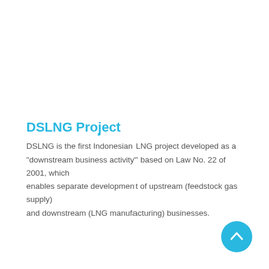DSLNG Project
DSLNG is the first Indonesian LNG project developed as a "downstream business activity" based on Law No. 22 of 2001, which enables separate development of upstream (feedstock gas supply) and downstream (LNG manufacturing) businesses.
[Figure (other): Cyan circular navigation button with upward-pointing chevron arrow]